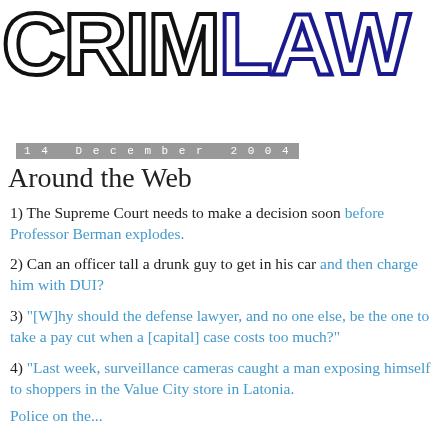[Figure (logo): CRIMLAW logo in large outlined block letters, CRIM in black outline, LAW in dark blue outline]
14 December 2004
Around the Web
1) The Supreme Court needs to make a decision soon before Professor Berman explodes.
2) Can an officer tall a drunk guy to get in his car and then charge him with DUI?
3) "[W]hy should the defense lawyer, and no one else, be the one to take a pay cut when a [capital] case costs too much?"
4) "Last week, surveillance cameras caught a man exposing himself to shoppers in the Value City store in Latonia.